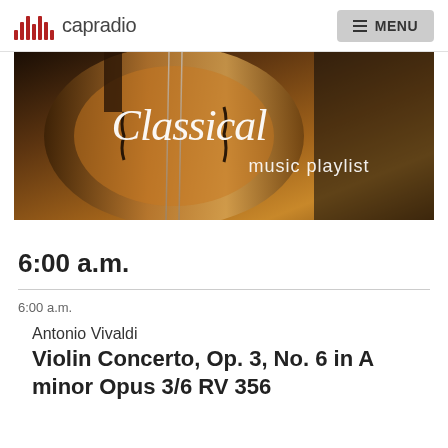capradio  MENU
[Figure (photo): Close-up photo of a cello or violin body with a decorative overlay text reading 'Classical music playlist' in white cursive and serif fonts against the warm brown wooden instrument background.]
6:00 a.m.
6:00 a.m.
Antonio Vivaldi
Violin Concerto, Op. 3, No. 6 in A minor Opus 3/6 RV 356